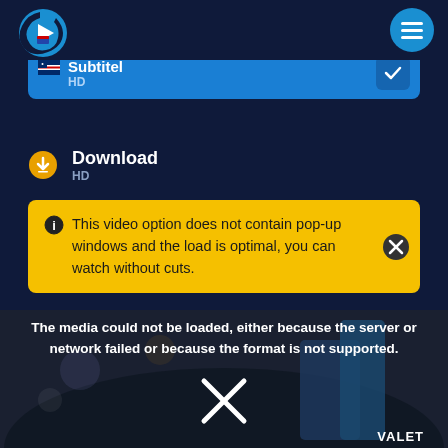[Figure (screenshot): App logo - blue C shape with play button triangle inside]
[Figure (screenshot): Hamburger menu button - circular blue button with three horizontal lines]
Subtitel
HD
Download
HD
This video option does not contain pop-up windows and the load is optimal, you can watch without cuts.
The media could not be loaded, either because the server or network failed or because the format is not supported.